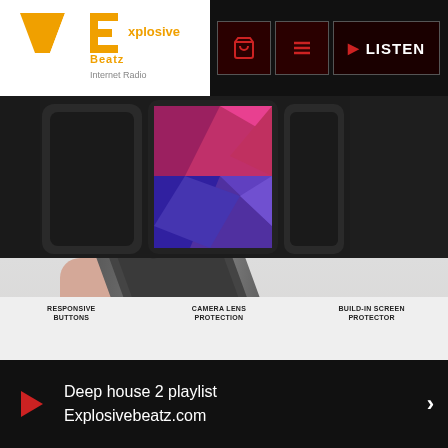Explosive Beatz Internet Radio – header navigation with logo, cart, menu, and LISTEN button
[Figure (photo): Product photos of phone cases: dark phone case on left, colorful geometric patterned phone in center, dark phone case on right]
[Figure (photo): Military Grade Protection phone case advertisement showing a dropped phone case mid-air above ground with person's legs in background, blue shock-wave rings below, Military Drop Tested shield badge, text reads MILITARY GRADE PROTECTION]
RESPONSIVE BUTTONS    CAMERA LENS PROTECTION    BUILD-IN SCREEN PROTECTOR
Deep house 2 playlist
Explosivebeatz.com